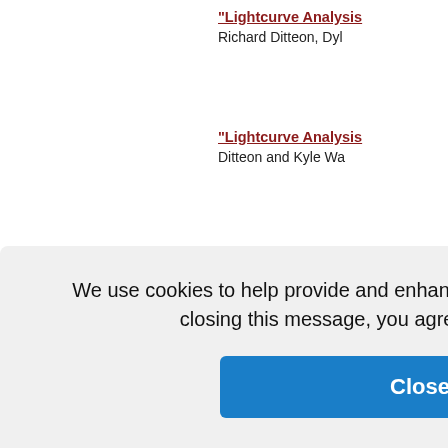"Lightcurve Analysis...
Richard Ditteon, Dyl...
"Lightcurve Analysis...
Ditteon and Kyle Wa...
Lighting education a...
Joenathan
Lighting education a...
Bunch
Link
Limiting Absorption l...
R. Green, M...
rystal demon...
st, High-Res...
r, Tyler Nuan...
MIDFIELD M...
hl, M. K. Or...
We use cookies to help provide and enhance our service and tailor content. By closing this message, you agree to the use of cookies.
Close